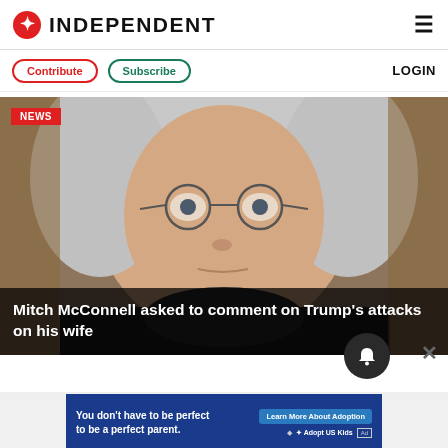INDEPENDENT
Contribute  Subscribe  LOGIN
[Figure (photo): Close-up photo of Mitch McConnell, an elderly man with white hair and round glasses, looking upward against a blurred background.]
Mitch McConnell asked to comment on Trump's attacks on his wife
[Figure (infographic): Advertisement banner with blue background reading: You don't have to be perfect to be a perfect parent. Learn More About Adoption. Adopt US Kids logo.]